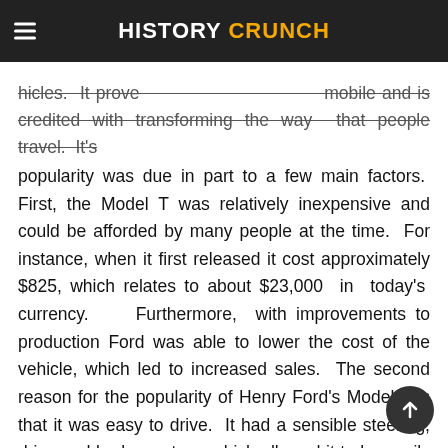HISTORY CRUNCH
hicles. It prove automobile and is credited with transforming the way that people travel. It's popularity was due in part to a few main factors. First, the Model T was relatively inexpensive and could be afforded by many people at the time. For instance, when it first released it cost approximately $825, which relates to about $23,000 in today's currency. Furthermore, with improvements to production Ford was able to lower the cost of the vehicle, which led to increased sales. The second reason for the popularity of Henry Ford's Model T is that it was easy to drive. It had a sensible steering, drive and brake system, which allowed it to be easily learned and operated by most people. Third, the Model T was developed with parts that were easily and cheaply replaceable. As such, it was affordable for most people to fix and repair the vehicle themselves. In fact, the Model T was so popular that by 1914, more that 250,000 of them had been sold in the United States. The sales increased to over 472,000 by 1916